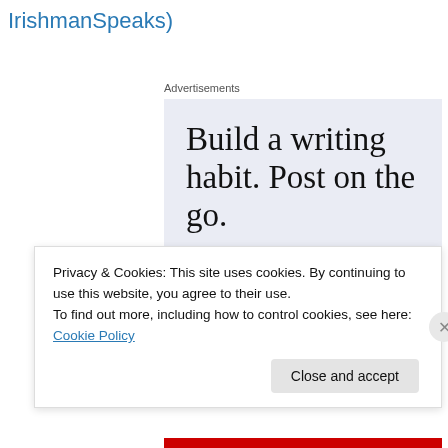IrishmanSpeaks)
Advertisements
[Figure (infographic): WordPress advertisement banner with light blue background. Large serif text reads 'Build a writing habit. Post on the go.' with 'GET THE APP' call to action and WordPress logo icon.]
Privacy & Cookies: This site uses cookies. By continuing to use this website, you agree to their use.
To find out more, including how to control cookies, see here: Cookie Policy
Close and accept